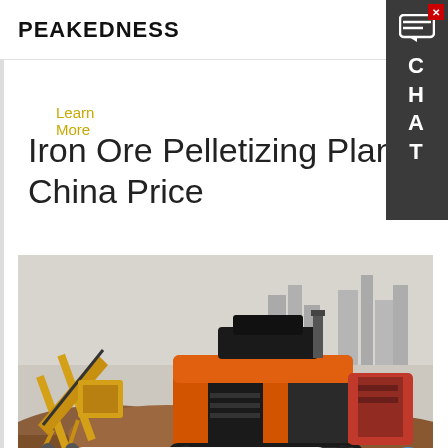PEAKEDNESS
Learn More
Iron Ore Pelletizing Plant China Price
[Figure (photo): Heavy mining/crushing machinery (orange and black mobile crusher) on a construction/mining site with dirt mounds and city buildings in background. Chat overlay showing 'Hey, we are live 24/7. How may I help you?']